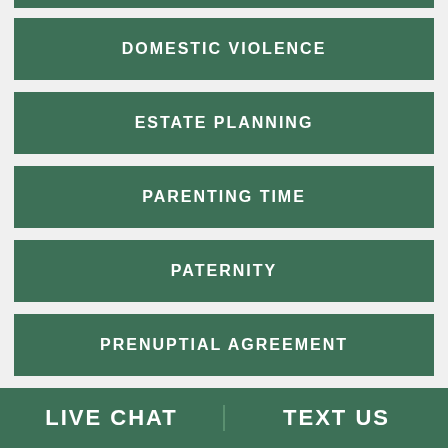DOMESTIC VIOLENCE
ESTATE PLANNING
PARENTING TIME
PATERNITY
PRENUPTIAL AGREEMENT
LIVE CHAT   TEXT US